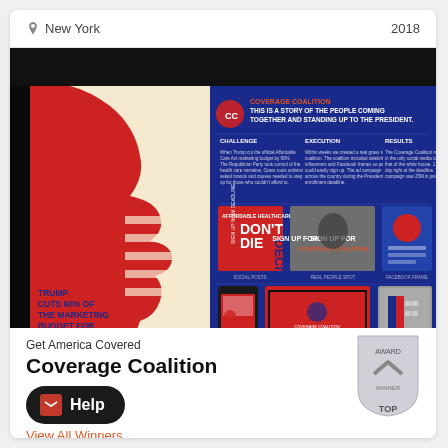New York   2018
[Figure (screenshot): Coverage Coalition campaign infographic showing a red silhouette of Trump's profile against blue and beige/cream background, with text 'TRUMP CUTS 90% OF THE MARKETING BUDGET FOR THE AFFORDABLE CARE ACT.' On the right, a presentation slide with headline 'COVERAGE COALITION - THIS IS A STORY OF THE PEOPLE COMING TOGETHER AND STANDING UP TO THE PRESIDENT.' Sections labeled Challenge, Execution, Results. Below are campaign materials: 'DON'T DIE' social ad, 'SIGN UP FOR COVERAGE COALITION' motorcyclist image, Facebook frame, display ads, responsive website mockup, and a building wrap.]
Get America Covered
Coverage Coalition
Help
View All Winners